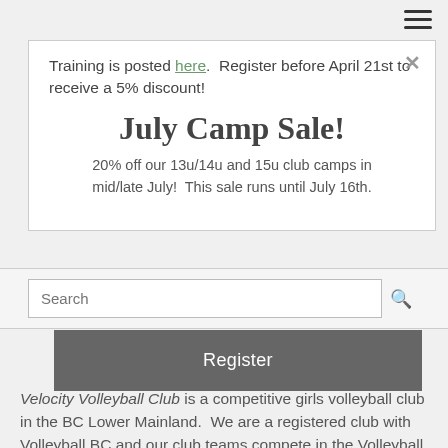Training is posted here.  Register before April 21st to receive a 5% discount!
July Camp Sale!
20% off our 13u/14u and 15u club camps in mid/late July!  This sale runs until July 16th.
Search
Register
Velocity Volleyball Club is a competitive girls volleyball club in the BC Lower Mainland.  We are a registered club with Volleyball BC and our club teams compete in the Volleyball BC Provincial Championships.  Velocity Athletes are from Surrey